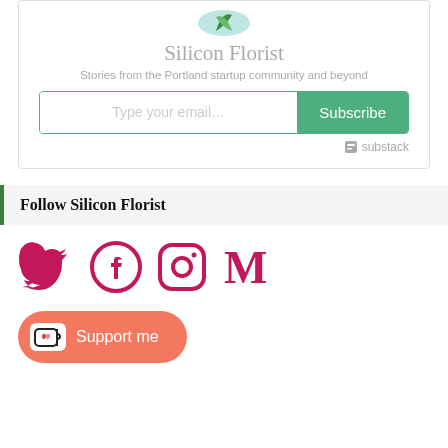[Figure (logo): Silicon Florist logo - partial flower/plant icon in teal/green]
Silicon Florist
Stories from the Portland startup community and beyond
[Figure (other): Email subscription input box with Subscribe button]
[Figure (logo): Powered by Substack badge]
Follow Silicon Florist
[Figure (other): Social media icons: Twitter, Facebook, Instagram, Medium - all in crimson/pink color]
[Figure (other): Ko-fi Support me button in coral/orange-red color]